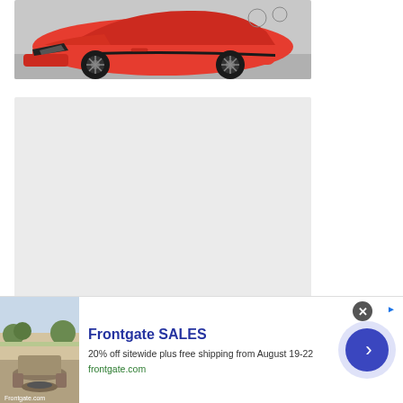[Figure (photo): Red Jaguar I-PACE electric car photographed from the side, showing the front and mid section with black alloy wheels on a grey surface.]
[Figure (other): Large light grey placeholder rectangle, likely an unloaded image or embedded content area.]
[Figure (other): Bottom partial strip of another image, light grey, partially visible at page bottom behind the ad overlay.]
[Figure (other): Advertisement banner for Frontgate SALES. Shows outdoor furniture thumbnail on left, ad text in center reading 'Frontgate SALES', '20% off sitewide plus free shipping from August 19-22', 'frontgate.com', with a circular blue CTA button with right arrow on the right. A close (X) button and AdChoices icon appear at top right.]